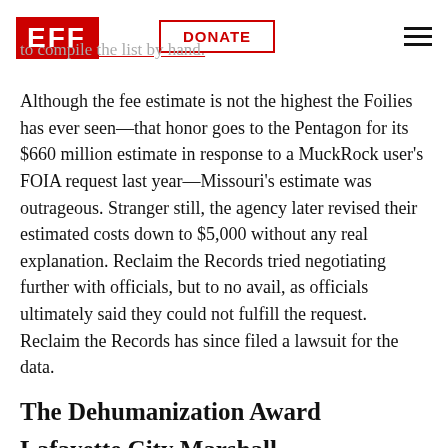EFF | DONATE
Although the fee estimate is not the highest the Foilies has ever seen—that honor goes to the Pentagon for its $660 million estimate in response to a MuckRock user's FOIA request last year—Missouri's estimate was outrageous. Stranger still, the agency later revised their estimated costs down to $5,000 without any real explanation. Reclaim the Records tried negotiating further with officials, but to no avail, as officials ultimately said they could not fulfill the request. Reclaim the Records has since filed a lawsuit for the data.
The Dehumanization Award
Lafayette City Marshall